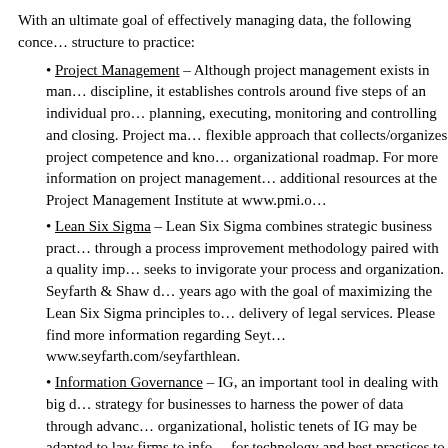With an ultimate goal of effectively managing data, the following concepts bridge structure to practice:
Project Management – Although project management exists in many forms as a discipline, it establishes controls around five steps of an individual project: initiating, planning, executing, monitoring and controlling and closing. Project management allows a flexible approach that collects/organizes project competence and knowledge into an organizational roadmap. For more information on project management, please find additional resources at the Project Management Institute at www.pmi.o…
Lean Six Sigma – Lean Six Sigma combines strategic business practices through a process improvement methodology paired with a quality improvement that seeks to invigorate your process and organization. Seyfarth & Shaw developed this years ago with the goal of maximizing the Lean Six Sigma principles to transform the delivery of legal services. Please find more information regarding Seyfarth at www.seyfarth.com/seyfarthlean.
Information Governance – IG, an important tool in dealing with big data, is a strategy for businesses to harness the power of data through advanced organizational, holistic tenets of IG may be adapted to law firms to inform a strategy for technology and best practices to deal with big data. Please find more information on Information Governance at The Information Governance Initiative at w…
Technology is critical to the success of individual projects and organizational industry. However, long-term competitive success will derive from the implementation of an organizational structure in an environment where technical data so…